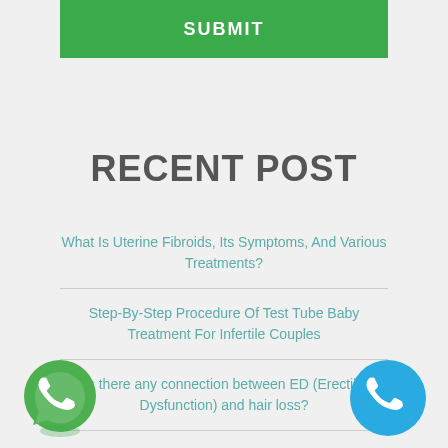[Figure (other): Green SUBMIT button at top of page]
RECENT POST
What Is Uterine Fibroids, Its Symptoms, And Various Treatments?
Step-By-Step Procedure Of Test Tube Baby Treatment For Infertile Couples
Is there any connection between ED (Erectile Dysfunction) and hair loss?
3 Tips On Healthy Lifestyle Strategies To Control And Manage PCOS
[Figure (illustration): Green WhatsApp icon in bottom left corner]
[Figure (illustration): Blue phone call icon in bottom right corner]